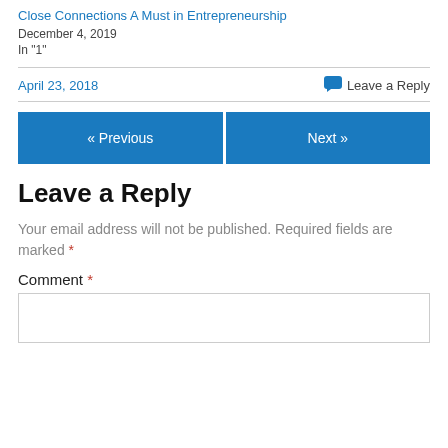Close Connections A Must in Entrepreneurship
December 4, 2019
In "1"
April 23, 2018
💬 Leave a Reply
« Previous
Next »
Leave a Reply
Your email address will not be published. Required fields are marked *
Comment *